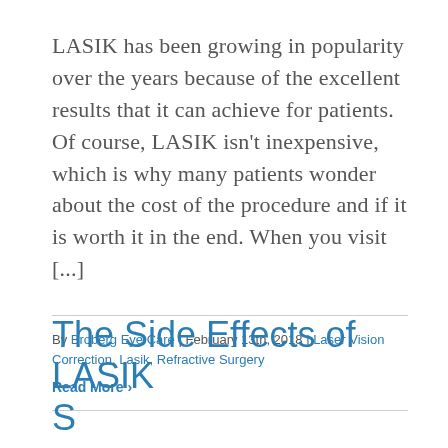LASIK has been growing in popularity over the years because of the excellent results that it can achieve for patients. Of course, LASIK isn't inexpensive, which is why many patients wonder about the cost of the procedure and if it is worth it in the end. When you visit [...]
By Broberg Eye Care | February 13th, 2018 | Laser Vision Correction, Lasik, Refractive Surgery
Read More >
The Side Effects of LASIK S...